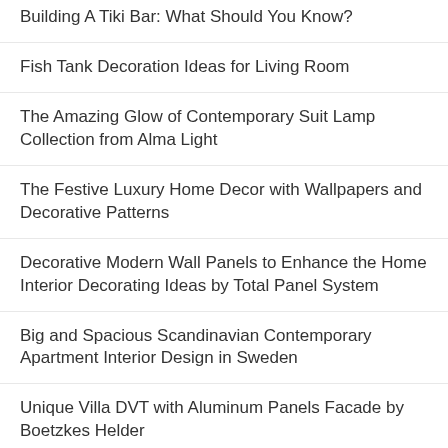Building A Tiki Bar: What Should You Know?
Fish Tank Decoration Ideas for Living Room
The Amazing Glow of Contemporary Suit Lamp Collection from Alma Light
The Festive Luxury Home Decor with Wallpapers and Decorative Patterns
Decorative Modern Wall Panels to Enhance the Home Interior Decorating Ideas by Total Panel System
Big and Spacious Scandinavian Contemporary Apartment Interior Design in Sweden
Unique Villa DVT with Aluminum Panels Facade by Boetzkes Helder
The Contemporary Concrete Home Design in Portugal by 100 Planos – Architects
Thanksgiving Day Home Decors with Thanksgiving Dining Room